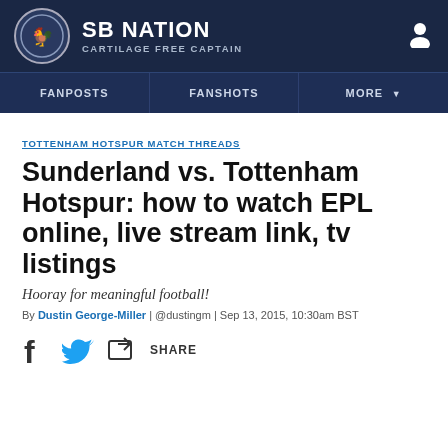SB NATION | CARTILAGE FREE CAPTAIN
TOTTENHAM HOTSPUR MATCH THREADS
Sunderland vs. Tottenham Hotspur: how to watch EPL online, live stream link, tv listings
Hooray for meaningful football!
By Dustin George-Miller | @dustingm | Sep 13, 2015, 10:30am BST